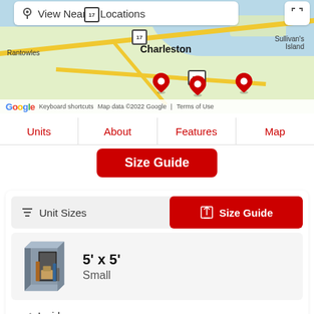[Figure (map): Google Maps showing Charleston area with red location markers, including Rantowles, Charleston, and Sullivan's Island labels, map data 2022 Google]
View Nearby Locations
Units | About | Features | Map
Size Guide
≡ Unit Sizes   Size Guide
5' x 5'
Small
Inside
Elevator Access
Climate Controlled
Web Rate $68